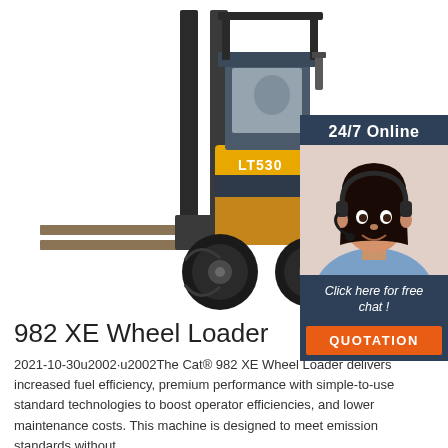[Figure (photo): Yellow LT530 forklift truck on white background, with forks extended forward and operator cab visible]
[Figure (infographic): 24/7 Online chat widget with dark blue background, photo of female customer service representative with headset, text 'Click here for free chat!' and orange QUOTATION button]
982 XE Wheel Loader
2021-10-30u2002·u2002The Cat® 982 XE Wheel Loader delivers increased fuel efficiency, premium performance with simple-to-use standard technologies to boost operator efficiencies, and lower maintenance costs. This machine is designed to meet emission standards without